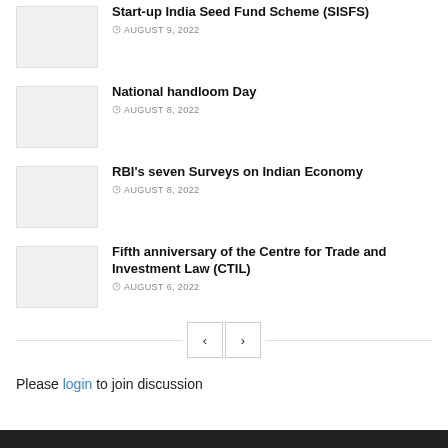Start-up India Seed Fund Scheme (SISFS)
AUGUST 9, 2022
National handloom Day
AUGUST 8, 2022
RBI's seven Surveys on Indian Economy
AUGUST 8, 2022
Fifth anniversary of the Centre for Trade and Investment Law (CTIL)
AUGUST 6, 2022
Please login to join discussion